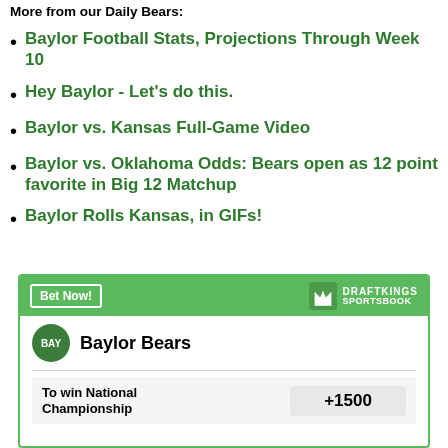More from our Daily Bears:
Baylor Football Stats, Projections Through Week 10
Hey Baylor - Let's do this.
Baylor vs. Kansas Full-Game Video
Baylor vs. Oklahoma Odds: Bears open as 12 point favorite in Big 12 Matchup
Baylor Rolls Kansas, in GIFs!
[Figure (infographic): DraftKings Sportsbook widget showing Baylor Bears with odds to win National Championship at +1500]